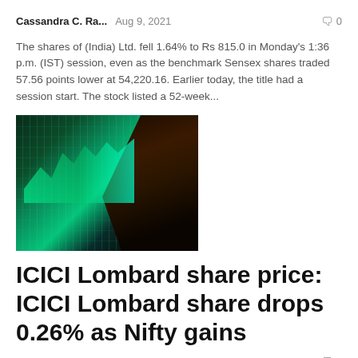Cassandra C. Ra...   Aug 9, 2021   🗨 0
The shares of (India) Ltd. fell 1.64% to Rs 815.0 in Monday's 1:36 p.m. (IST) session, even as the benchmark Sensex shares traded 57.56 points lower at 54,220.16. Earlier today, the title had a session start. The stock listed a 52-week...
[Figure (photo): Stock market trading screen with green charts and data, with a hand touching a tablet or screen in the foreground.]
ICICI Lombard share price: ICICI Lombard share drops 0.26% as Nifty gains
Cassandra C. Ra...   Aug 3, 2021   🗨 0